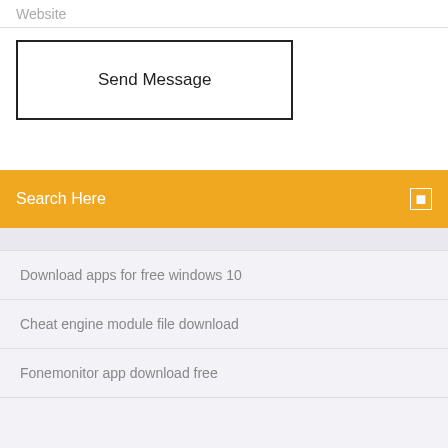Website
Send Message
Search Here
Download apps for free windows 10
Cheat engine module file download
Fonemonitor app download free